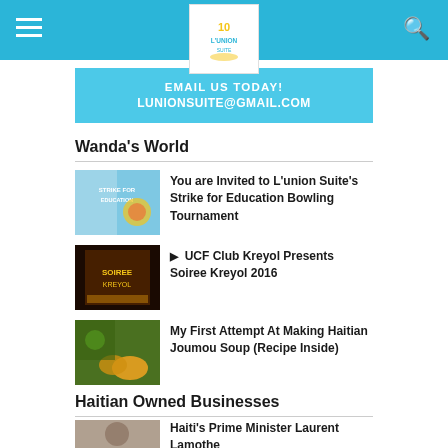L'Union Suite website header with menu, logo, and search
[Figure (screenshot): Email us today banner: EMAIL US TODAY! LUNIONSUITE@GMAIL.COM]
Wanda's World
You are Invited to L'union Suite's Strike for Education Bowling Tournament
UCF Club Kreyol Presents Soiree Kreyol 2016
My First Attempt At Making Haitian Joumou Soup (Recipe Inside)
Haitian Owned Businesses
Haiti's Prime Minister Laurent Lamothe Awarded "Innovative Leader of the Year"